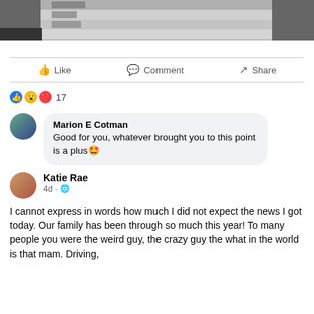[Figure (screenshot): Top portion of a screenshot showing a dark/blurred table or document image, partially visible at the top of the page.]
Like   Comment   Share
17
Marion E Cotman
Good for you, whatever brought you to this point is a plus 🤩
Katie Rae
4d · 🌐
I cannot express in words how much I did not expect the news I got today. Our family has been through so much this year! To many people you were the weird guy, the crazy guy the what in the world is that mam. Driving,